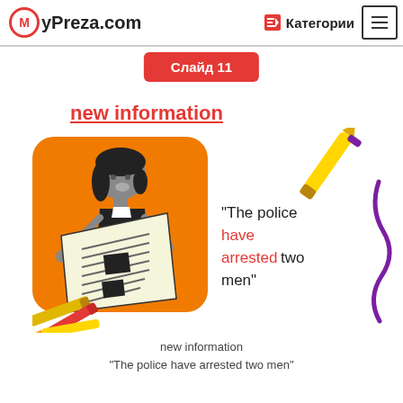MyPreza.com  Категории
Слайд 11
new information
[Figure (illustration): Cartoon illustration of a girl with black hair reading a newspaper on an orange rounded-square background. Crayons are scattered at the bottom-left. A yellow crayon and purple squiggly line are on the right side. Text reads: "The police have arrested two men" with 'have arrested' in red.]
new information
"The police have arrested two men"